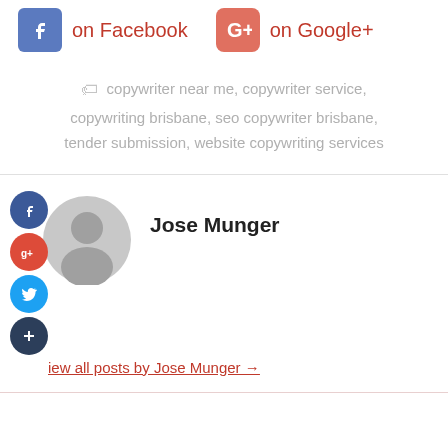[Figure (infographic): Social share buttons: Facebook icon with 'on Facebook' label, and Google+ icon with 'on Google+' label]
copywriter near me, copywriter service, copywriting brisbane, seo copywriter brisbane, tender submission, website copywriting services
[Figure (infographic): Author section with social share sidebar icons (Facebook, Google+, Twitter, Plus), avatar placeholder, author name Jose Munger, and link 'View all posts by Jose Munger →']
Jose Munger
View all posts by Jose Munger →